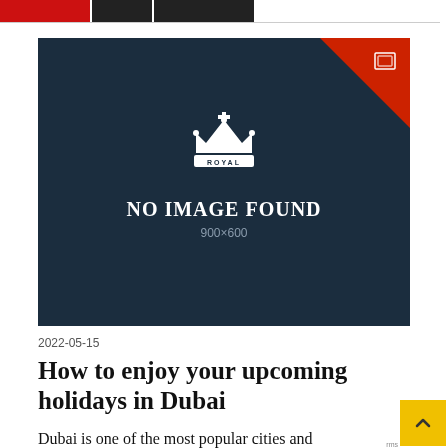Navigation header bar with red and dark sections
[Figure (illustration): Dark blue placeholder image with red triangle in top-right corner, Royal crown logo, text 'NO IMAGE FOUND' and '900x600']
2022-05-15
How to enjoy your upcoming holidays in Dubai
Dubai is one of the most popular cities and